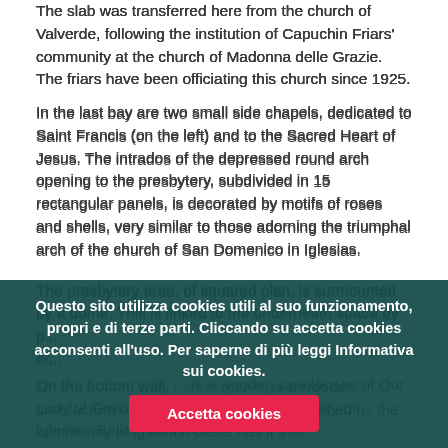The slab was transferred here from the church of Valverde, following the institution of Capuchin Friars' community at the church of Madonna delle Grazie. The friars have been officiating this church since 1925.
In the last bay are two small side chapels, dedicated to Saint Francis (on the left) and to the Sacred Heart of Jesus. The intrados of the depressed round arch opening to the presbytery, subdivided in 15 rectangular panels, is decorated by motifs of roses and shells, very similar to those adorning the triumphal arch of the church of San Domenico in Iglesias.
The presbytery area, of squared plan, is surmounted by a dome. This is linked to the underneath space by...
On the bottom wall, ... is a wooden simulacrum of Our Lady of Grace, worshipped by the community of Iglesias. Belief has it that ...
Questo sito utilizza cookies utili al suo funzionamento, propri e di terze parti. Cliccando su accetta cookies acconsenti all'uso. Per saperne di più leggi Informativa sui cookies.